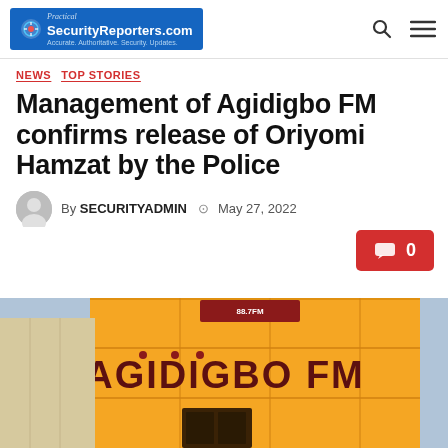SecurityReporters.com
NEWS  TOP STORIES
Management of Agidigbo FM confirms release of Oriyomi Hamzat by the Police
By SECURITYADMIN  May 27, 2022
[Figure (other): Comment button showing 0 comments]
[Figure (photo): Exterior photo of Agidigbo FM building with large yellow signage displaying AGIDIGBO FM]